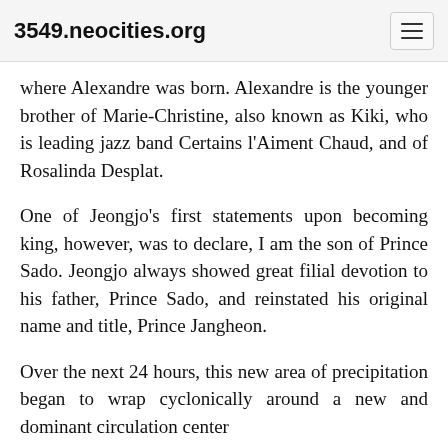3549.neocities.org
where Alexandre was born. Alexandre is the younger brother of Marie-Christine, also known as Kiki, who is leading jazz band Certains l'Aiment Chaud, and of Rosalinda Desplat.
One of Jeongjo's first statements upon becoming king, however, was to declare, I am the son of Prince Sado. Jeongjo always showed great filial devotion to his father, Prince Sado, and reinstated his original name and title, Prince Jangheon.
Over the next 24 hours, this new area of precipitation began to wrap cyclonically around a new and dominant circulation center